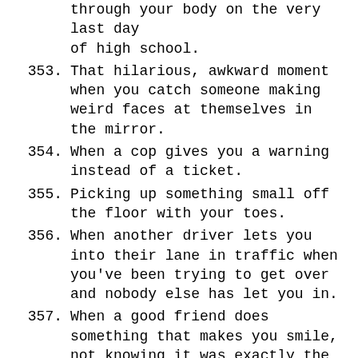through your body on the very last day of high school.
353. That hilarious, awkward moment when you catch someone making weird faces at themselves in the mirror.
354. When a cop gives you a warning instead of a ticket.
355. Picking up something small off the floor with your toes.
356. When another driver lets you into their lane in traffic when you've been trying to get over and nobody else has let you in.
357. When a good friend does something that makes you smile, not knowing it was exactly the moment you needed a reason to